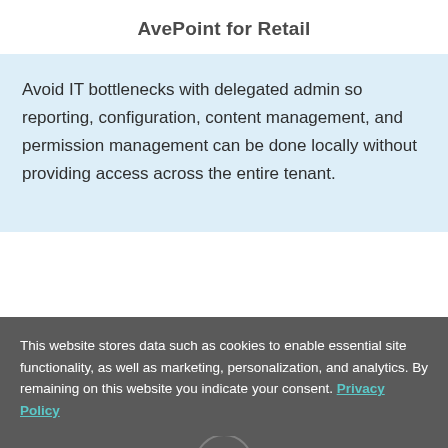AvePoint for Retail
Avoid IT bottlenecks with delegated admin so reporting, configuration, content management, and permission management can be done locally without providing access across the entire tenant.
This website stores data such as cookies to enable essential site functionality, as well as marketing, personalization, and analytics. By remaining on this website you indicate your consent. Privacy Policy
[Figure (logo): AvePoint logo circular badge with abstract network/graph icon]